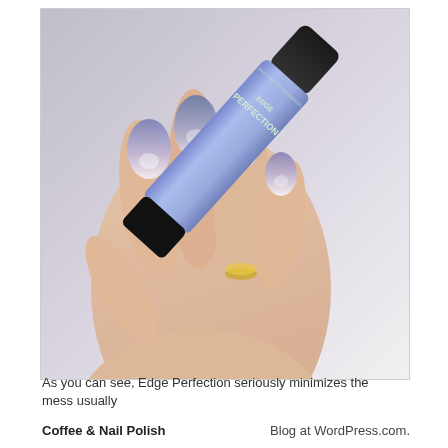[Figure (photo): A hand holding a blue/purple nail polish marker pen labeled 'EDGE PERFECTION'. The hand has ombre nails transitioning from white/nude at the base to blue-purple at the tips.]
As you can see, Edge Perfection seriously minimizes the mess usually
Coffee & Nail Polish                                    Blog at WordPress.com.